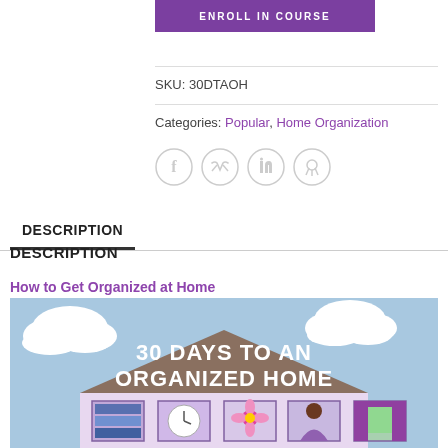ENROLL IN COURSE
SKU: 30DTAOH
Categories: Popular, Home Organization
[Figure (other): Social sharing icons: Facebook, Twitter, LinkedIn, Pinterest — circular light grey outlined icons]
DESCRIPTION
How to Get Organized at Home
[Figure (illustration): Illustrated image of a house with text '30 DAYS TO AN ORGANIZED HOME' on a brown roof, light blue sky background with white clouds, and small illustrated icons below representing home organization items (shelves, clock, flower, person, curtains)]